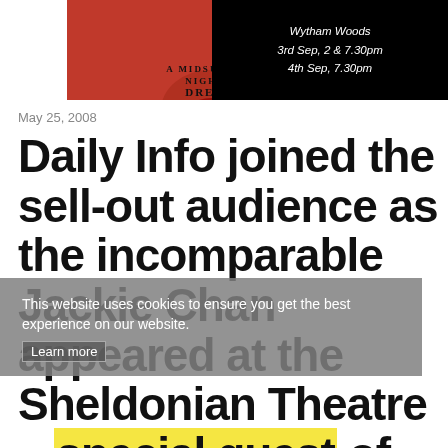[Figure (illustration): Banner image for 'A Midsummer Night's Dream' performance at Wytham Woods on 3rd Sep, 2 & 7.30pm and 4th Sep, 7.30pm. Left side shows red illustrated poster; right side shows white text on black background.]
May 25, 2008
Daily Info joined the sell-out audience as the incomparable Jackie Chan appeared at the Sheldonian Theatre – special guest of Oxford University's PPE Society –
This website uses cookies to ensure you get the best experience on our website. Learn more